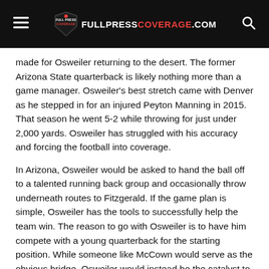FULLPRESSCOVERAGE.COM
made for Osweiler returning to the desert. The former Arizona State quarterback is likely nothing more than a game manager. Osweiler's best stretch came with Denver as he stepped in for an injured Peyton Manning in 2015. That season he went 5-2 while throwing for just under 2,000 yards. Osweiler has struggled with his accuracy and forcing the football into coverage.
In Arizona, Osweiler would be asked to hand the ball off to a talented running back group and occasionally throw underneath routes to Fitzgerald. If the game plan is simple, Osweiler has the tools to successfully help the team win. The reason to go with Osweiler is to have him compete with a young quarterback for the starting position. While someone like McCown would serve as the obvious bridge, Osweiler would instead be the catalyst to help get the